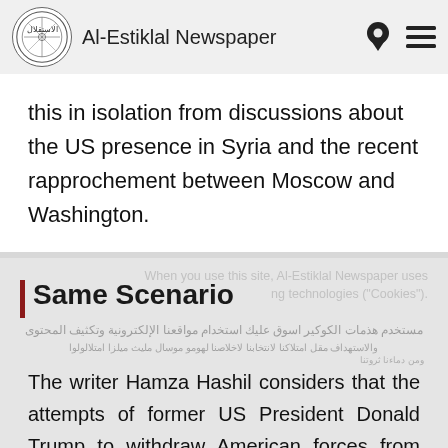Al-Estiklal Newspaper
this in isolation from discussions about the US presence in Syria and the recent rapprochement between Moscow and Washington.
Same Scenario
The writer Hamza Hashil considers that the attempts of former US President Donald Trump to withdraw American forces from Syria did not gain momentum until after he announced the end of the war against ISIS on